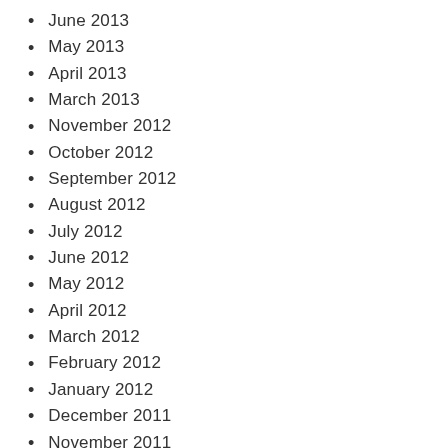June 2013
May 2013
April 2013
March 2013
November 2012
October 2012
September 2012
August 2012
July 2012
June 2012
May 2012
April 2012
March 2012
February 2012
January 2012
December 2011
November 2011